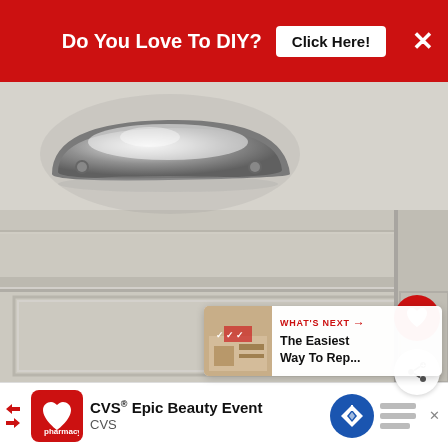[Figure (other): Red advertisement banner at top reading 'Do You Love To DIY?' with a white 'Click Here!' button and an X close button on a red background]
[Figure (photo): Close-up photograph of a gray/silver cup-pull cabinet hardware handle mounted on a white-painted cabinet door with raised panel molding details]
[Figure (other): Circular red heart/favorite button overlaid on the right side of the photo]
[Figure (other): Circular white share button with a share icon overlaid on the right side of the photo]
[Figure (other): WHAT'S NEXT promo overlay in bottom-right with thumbnail image and text 'The Easiest Way To Rep...']
[Figure (other): Bottom advertisement bar showing CVS pharmacy logo with text 'CVS® Epic Beauty Event' and 'CVS', plus navigation icon and bar chart icon]